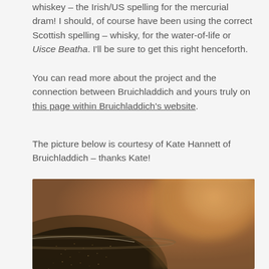whiskey – the Irish/US spelling for the mercurial dram! I should, of course have been using the correct Scottish spelling – whisky, for the water-of-life or Uisce Beatha. I'll be sure to get this right henceforth.
You can read more about the project and the connection between Bruichladdich and yours truly on this page within Bruichladdich's website.
The picture below is courtesy of Kate Hannett of Bruichladdich – thanks Kate!
[Figure (photo): Close-up macro photograph of a dark, textured whisky barrel or cask, showing grain detail and curvature, with a blurred warm brown/amber background.]